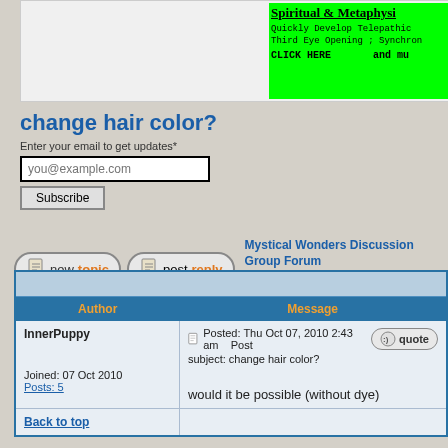[Figure (screenshot): Green advertisement banner for Spiritual & Metaphysical content, partially visible, with text 'Spiritual & Metaphysical', 'Quickly Develop Telepathic', 'Third Eye Opening ; Synchron...', 'CLICK HERE and mu...']
change hair color?
Enter your email to get updates*
you@example.com
Subscribe
newtopic  postreply  Mystical Wonders Discussion Group Forum Index -> Psychic Powers & Mind Powers
| Author | Message |
| --- | --- |
| InnerPuppy

Joined: 07 Oct 2010
Posts: 5 | Posted: Thu Oct 07, 2010 2:43 am  Post subject: change hair color?

would it be possible (without dye) |
| Back to top |  |